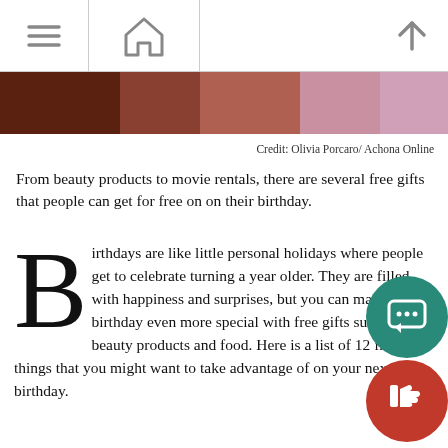[hamburger menu] [home icon] [up arrow]
[Figure (photo): Partial photo strip showing people, cropped at top of article]
Credit: Olivia Porcaro/ Achona Online
From beauty products to movie rentals, there are several free gifts that people can get for free on on their birthday.
Birthdays are like little personal holidays where people get to celebrate turning a year older. They are filled with happiness and surprises, but you can make your birthday even more special with free gifts such as beauty products and food. Here is a list of 12 free things that you might want to take advantage of on your next birthday.
"I always try to find free gifts and discounts at my favorite because it is something to look forward to and makes me more excited for my birthday," said sophomore, Myah Rhines.
1. Sephora – Join Beauty Insider for a free gift.